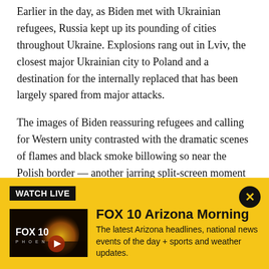Earlier in the day, as Biden met with Ukrainian refugees, Russia kept up its pounding of cities throughout Ukraine. Explosions rang out in Lviv, the closest major Ukrainian city to Poland and a destination for the internally replaced that has been largely spared from major attacks.
The images of Biden reassuring refugees and calling for Western unity contrasted with the dramatic scenes of flames and black smoke billowing so near the Polish border — another jarring split-screen moment in the war.
[Figure (screenshot): FOX 10 Arizona Morning watch live banner with thumbnail showing FOX 10 Phoenix logo and play button, show title 'FOX 10 Arizona Morning', and description 'The latest Arizona headlines, national news events of the day + sports and weather updates.']